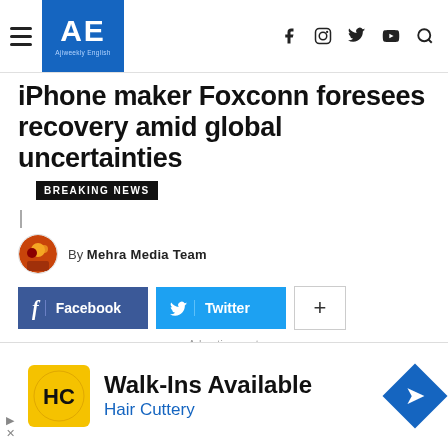AE Ajiweekly English
iPhone maker Foxconn foresees recovery amid global uncertainties
BREAKING NEWS
By Mehra Media Team
Facebook
Twitter
- Advertisement -
[Figure (other): Advertisement banner: HC Hair Cuttery logo with text Walk-Ins Available and Hair Cuttery in blue, with a blue diamond navigation arrow icon on the right]